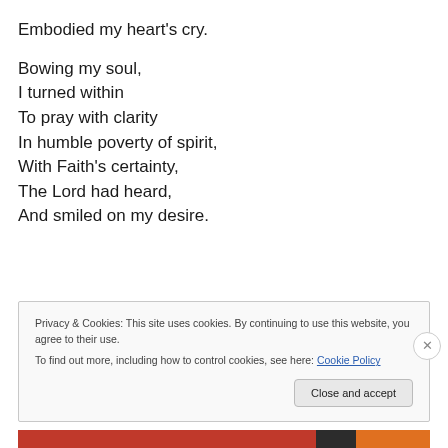Embodied my heart's cry.
Bowing my soul,
I turned within
To pray with clarity
In humble poverty of spirit,
With Faith's certainty,
The Lord had heard,
And smiled on my desire.
Privacy & Cookies: This site uses cookies. By continuing to use this website, you agree to their use.
To find out more, including how to control cookies, see here: Cookie Policy